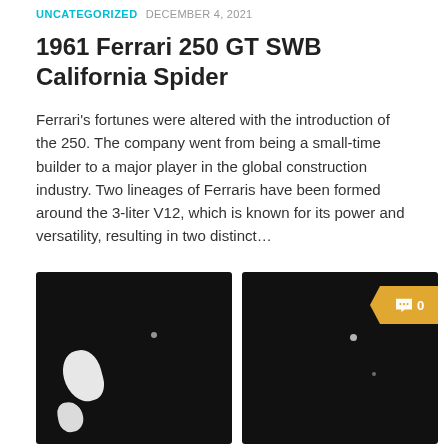UNCATEGORIZED  DECEMBER 4, 2021
1961 Ferrari 250 GT SWB California Spider
Ferrari's fortunes were altered with the introduction of the 250. The company went from being a small-time builder to a major player in the global construction industry. Two lineages of Ferraris have been formed around the 3-liter V12, which is known for its power and versatility, resulting in two distinct…
[Figure (photo): Dark/black photographic image, appears to be a close-up car detail with white highlight reflections on left side]
[Figure (photo): Dark/black photographic image, similar car detail with a comment badge overlay (gold/amber arrow shape with chat icon and '0') in upper right]